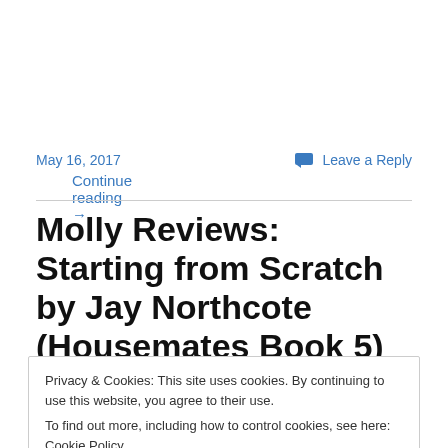Continue reading →
May 16, 2017
Leave a Reply
Molly Reviews: Starting from Scratch by Jay Northcote (Housemates Book 5)
Privacy & Cookies: This site uses cookies. By continuing to use this website, you agree to their use.
To find out more, including how to control cookies, see here: Cookie Policy
Ben is transgender and back at university after hormone